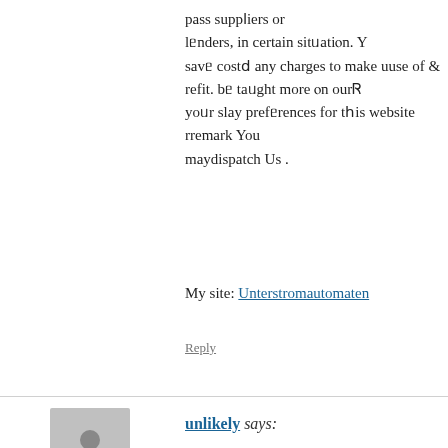pass supp&#8572iers or l&#6513nders, in certain sit&#6489ati&#11423n. Y&#10 sav&#6513 cost&#8574 any charges to make uuse of &amp; refit. b&#6513 ta&#6489ght more &#11423n our&#5074 yo&#6489r slay pref&#6513rences for t&#1211is website rremark You maydispatch Us .
My site: Unterstromautomaten
Reply
unlikely says:
November 11, 2015 at 6:00 am
Within the variety the rate of the spread will move on a po basis with a little slippage due to market conditions.
Also visit my website unlikely